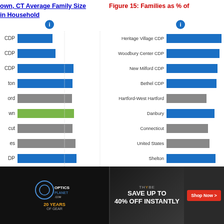Newtown, CT Average Family Size in Household
Figure 15: Families as % of ...
[Figure (bar-chart): Newtown, CT Average Family Size in Household]
[Figure (bar-chart): Figure 15: Families as % of ...]
[Figure (screenshot): Advertisement banner: Optics Planet 20 Years, Save Up To 40% Off Instantly, Shop Now button]